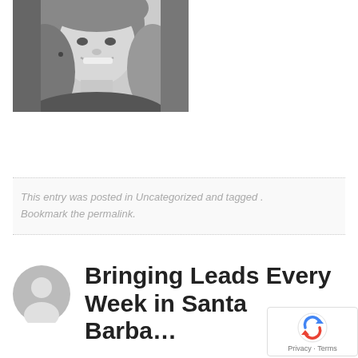[Figure (photo): Black and white portrait photo of a woman smiling, with long hair, positioned in upper left area of the page.]
This entry was posted in Uncategorized and tagged . Bookmark the permalink.
[Figure (illustration): Gray default avatar/user icon circle with person silhouette.]
Bringing Leads Every Week in Santa Barbara, CA